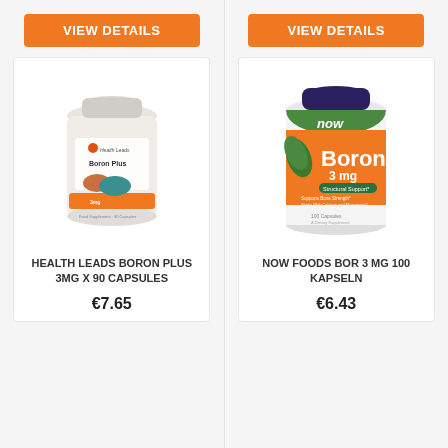[Figure (screenshot): Two-column product listing grid showing boron supplements]
VIEW DETAILS
[Figure (photo): Health Leads Boron Plus supplement bottle]
HEALTH LEADS BORON PLUS 3MG X 90 CAPSULES
€7.65
VIEW DETAILS
[Figure (photo): Now Foods Boron 3 mg 100 Capsules supplement bottle]
NOW FOODS BOR 3 MG 100 KAPSELN
€6.43